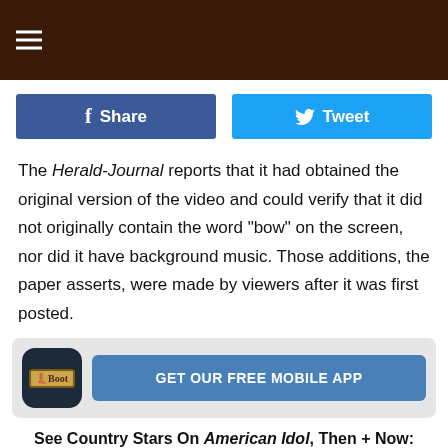[Figure (logo): The Boot website header banner with hamburger menu icon on left and 'the Boot' logo centered on dark brown background]
[Figure (infographic): Facebook Share button (blue) and Twitter Tweet button (light blue) side by side]
The Herald-Journal reports that it had obtained the original version of the video and could verify that it did not originally contain the word "bow" on the screen, nor did it have background music. Those additions, the paper asserts, were made by viewers after it was first posted.
[Figure (infographic): The Boot app promotion banner with app icon and 'GET OUR FREE MOBILE APP' button]
See Country Stars On American Idol, Then + Now: